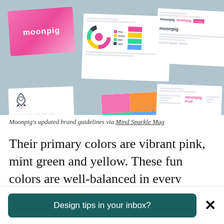[Figure (photo): Collage of Moonpig brand guideline documents scattered on a light blue-grey background, showing pink logo card, brand color donut chart, color block grid, typography sketches, and brand style sheets.]
Moonpig's updated brand guidelines via Mind Sparkle Mag
Their primary colors are vibrant pink, mint green and yellow. These fun colors are well-balanced in every design output, preventing a visual clashing of hues.
Design tips in your inbox?